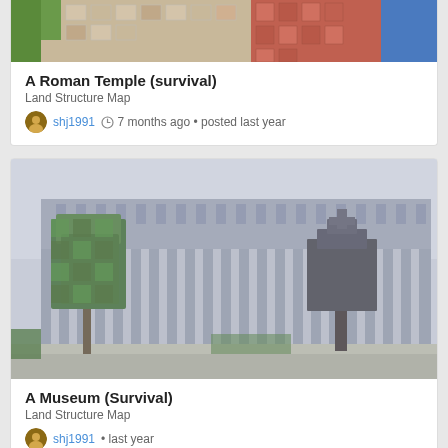[Figure (screenshot): Minecraft screenshot showing a partial view of a Roman Temple structure with colorful blocks]
A Roman Temple (survival)
Land Structure Map
shj1991  7 months ago • posted last year
[Figure (screenshot): Minecraft screenshot showing a large museum building with columns and topiary trees in front]
A Museum (Survival)
Land Structure Map
shj1991 • last year